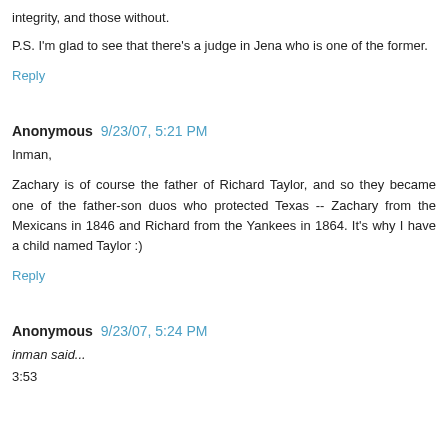integrity, and those without.
P.S. I'm glad to see that there's a judge in Jena who is one of the former.
Reply
Anonymous 9/23/07, 5:21 PM
Inman,
Zachary is of course the father of Richard Taylor, and so they became one of the father-son duos who protected Texas -- Zachary from the Mexicans in 1846 and Richard from the Yankees in 1864. It's why I have a child named Taylor :)
Reply
Anonymous 9/23/07, 5:24 PM
inman said...
3:53